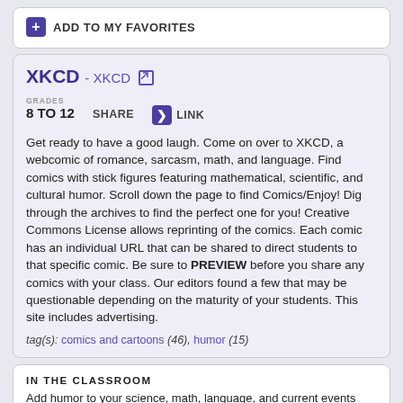ADD TO MY FAVORITES
XKCD - XKCD
GRADES 8 TO 12
SHARE
LINK
Get ready to have a good laugh. Come on over to XKCD, a webcomic of romance, sarcasm, math, and language. Find comics with stick figures featuring mathematical, scientific, and cultural humor. Scroll down the page to find Comics/Enjoy! Dig through the archives to find the perfect one for you! Creative Commons License allows reprinting of the comics. Each comic has an individual URL that can be shared to direct students to that specific comic. Be sure to PREVIEW before you share any comics with your class. Our editors found a few that may be questionable depending on the maturity of your students. This site includes advertising.
tag(s): comics and cartoons (46), humor (15)
IN THE CLASSROOM
Add humor to your science, math, language, and current events classes to lighten the mood! Spice up professional presentations with humor, and keep your audience involved. Share the direct URL to any comic that relates to your curriculum or specific topics. Encourage